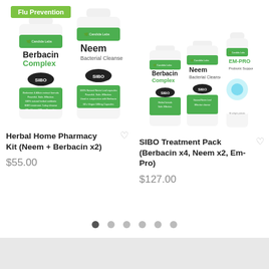[Figure (photo): Two supplement bottles: Berbacin Complex and Neem Bacterial Cleanse by Candida Labs, with a green Flu Prevention banner on top]
[Figure (photo): Three supplement bottles: Berbacin Complex, Neem Bacterial Cleanse, and Em-Pro Probiotic Support by Candida Labs]
Herbal Home Pharmacy Kit (Neem + Berbacin x2)
SIBO Treatment Pack (Berbacin x4, Neem x2, Em-Pro)
$55.00
$127.00